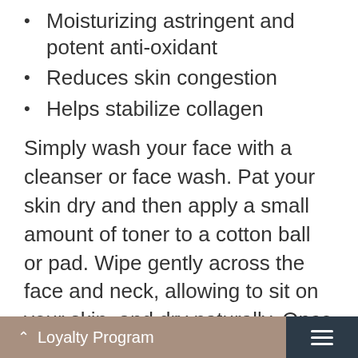Moisturizing astringent and potent anti-oxidant
Reduces skin congestion
Helps stabilize collagen
Simply wash your face with a cleanser or face wash. Pat your skin dry and then apply a small amount of toner to a cotton ball or pad. Wipe gently across the face and neck, allowing to sit on your skin, and dry naturally. Once dried, finish the process by applying the skin treatment product of your choice and moisturizer.
With a blend of vitamins and plant extracts, it ensures that traces of oil and impurities are removed from the skin. This alcohol-free [...]so minimizes the [...]ged pores and [...]
Loyalty Program  ☰